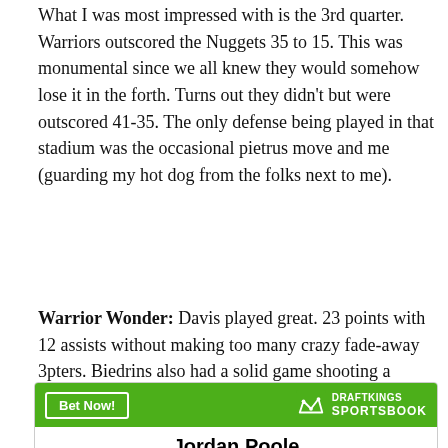What I was most impressed with is the 3rd quarter. Warriors outscored the Nuggets 35 to 15. This was monumental since we all knew they would somehow lose it in the forth. Turns out they didn't but were outscored 41-35. The only defense being played in that stadium was the occasional pietrus move and me (guarding my hot dog from the folks next to me).
Warrior Wonder: Davis played great. 23 points with 12 assists without making too many crazy fade-away 3pters. Biedrins also had a solid game shooting a whopping 1 for 1, and having 6 blocks. The kid is getting better.
[Figure (other): DraftKings Sportsbook advertisement banner with 'Bet Now!' button and 'Jordan Poole' player name]